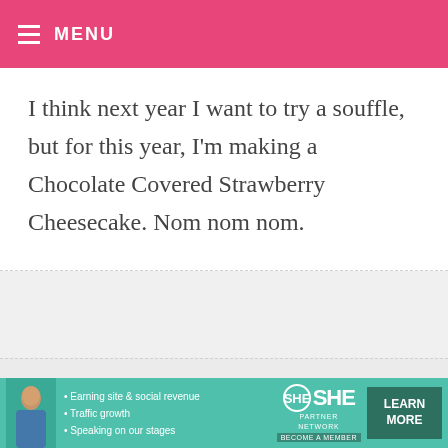MENU
I think next year I want to try a souffle, but for this year, I'm making a Chocolate Covered Strawberry Cheesecake. Nom nom nom.
HEIDI — FEBRUARY 11, 2011 @ 8:02 PM  REPLY
I saw a picture of your candy/ truffle box here http://www.etsy.com/listing/65446413/ valentines-day-assorted-truffle-box-1?
[Figure (infographic): SHE Partner Network advertisement banner with woman photo, bullet points about earning site & social revenue, traffic growth, speaking on our stages, SHE logo, and LEARN MORE button]